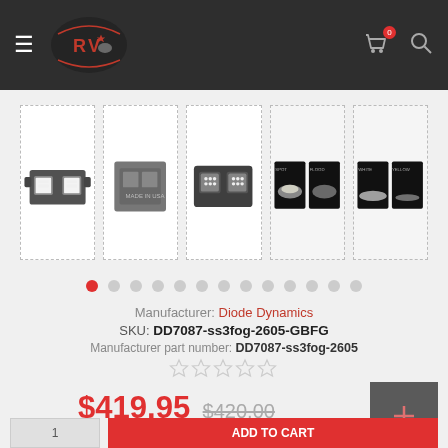Navigation header with menu, logo, cart (0 items), and search icon
[Figure (photo): Five product thumbnail images of LED fog light kit mounting brackets and light output comparison photos, shown in dashed-border boxes]
[Figure (other): Carousel pagination dots — 13 dots with first dot active in red]
Manufacturer: Diode Dynamics
SKU: DD7087-ss3fog-2605-GBFG
Manufacturer part number: DD7087-ss3fog-2605
[Figure (other): 5 empty star rating icons]
$419.95 $420.00
[Figure (other): Dark gray square button with red plus/expand icon]
Quantity input box and Add to Cart button (red)